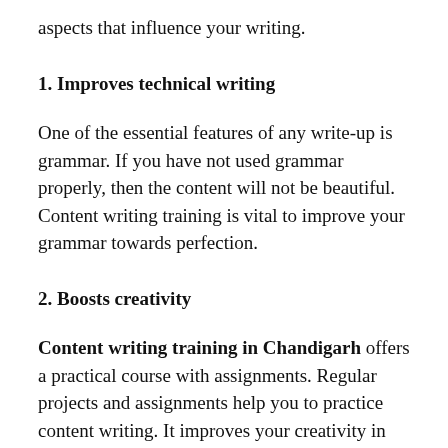aspects that influence your writing.
1. Improves technical writing
One of the essential features of any write-up is grammar. If you have not used grammar properly, then the content will not be beautiful. Content writing training is vital to improve your grammar towards perfection.
2. Boosts creativity
Content writing training in Chandigarh offers a practical course with assignments. Regular projects and assignments help you to practice content writing. It improves your creativity in